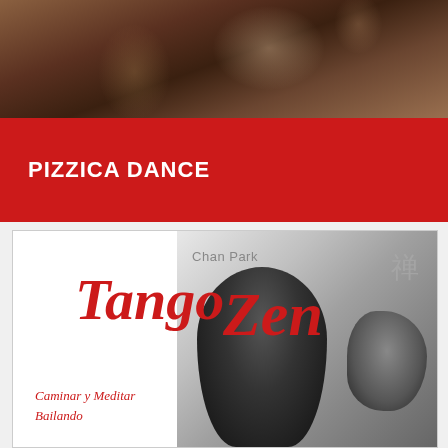[Figure (photo): People dancing at an event, blurred background with warm lighting, crowd of dancers visible]
PIZZICA DANCE
[Figure (illustration): Book cover for 'Tango Zen' by Chan Park, featuring a black and white photo of a tango dancer, red script title text, zen kanji symbol, and subtitle 'Caminar y Meditar Bailando']